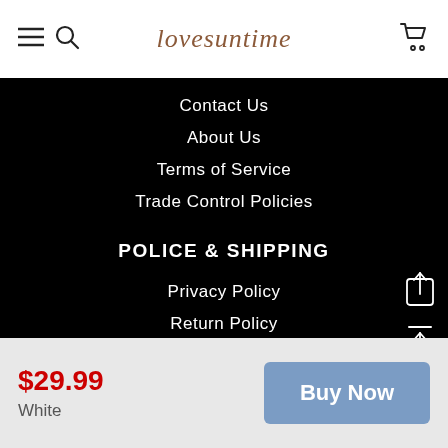lovesuntime
Contact Us
About Us
Terms of Service
Trade Control Policies
POLICE & SHIPPING
Privacy Policy
Return Policy
FAQS
Cancel An Order
Shipping & Delivery
$29.99
White
Buy Now